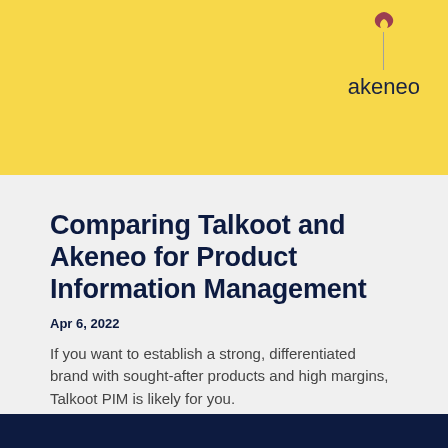[Figure (logo): Akeneo logo with vertical divider line above the word 'akeneo' on a yellow background banner]
Comparing Talkoot and Akeneo for Product Information Management
Apr 6, 2022
If you want to establish a strong, differentiated brand with sought-after products and high margins, Talkoot PIM is likely for you.
read more